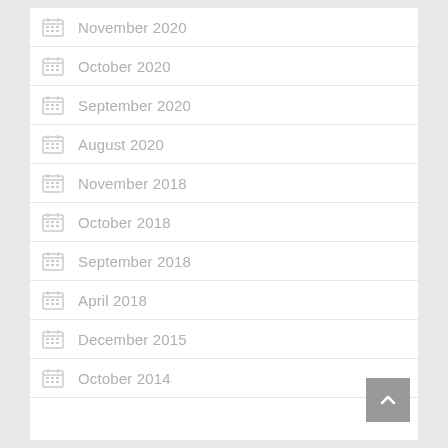November 2020
October 2020
September 2020
August 2020
November 2018
October 2018
September 2018
April 2018
December 2015
October 2014